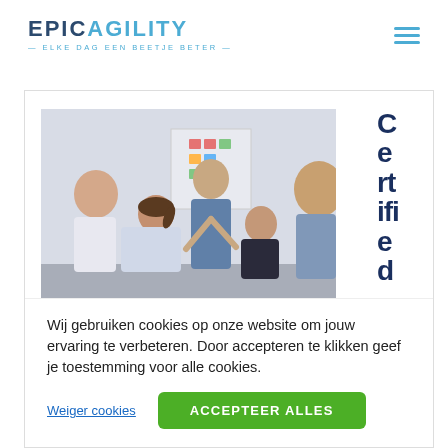EPICAGILITY — ELKE DAG EEN BEETJE BETER —
[Figure (photo): Group of five people in an office/workshop setting, gathered around what appears to be a board with sticky notes, collaborating. The word 'Certified' appears vertically on the right side.]
Wij gebruiken cookies op onze website om jouw ervaring te verbeteren. Door accepteren te klikken geef je toestemming voor alle cookies.
Weiger cookies
ACCEPTEER ALLES